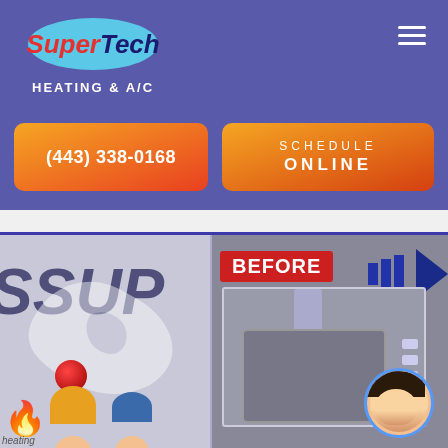[Figure (logo): SuperTech Heating & A/C logo with blue oval background and hamburger menu icon]
(443) 338-0168
SCHEDULE ONLINE
[Figure (illustration): Left panel: cartoon illustration with 'SSUP' text, map shape, red ball, flame icon, and cartoon characters with orange and blue hair]
[Figure (photo): Right panel: BEFORE label badge, arrow graphic, photograph of furnace/HVAC equipment, and circular avatar photo of a woman]